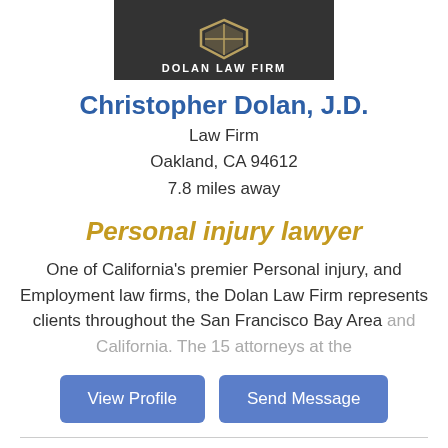[Figure (logo): Dolan Law Firm logo with shield emblem on dark background with text 'DOLAN LAW FIRM']
Christopher Dolan, J.D.
Law Firm
Oakland, CA 94612
7.8 miles away
Personal injury lawyer
One of California's premier Personal injury, and Employment law firms, the Dolan Law Firm represents clients throughout the San Francisco Bay Area and California. The 15 attorneys at the
[Figure (photo): Sunset photo with pink and purple sky with clouds]